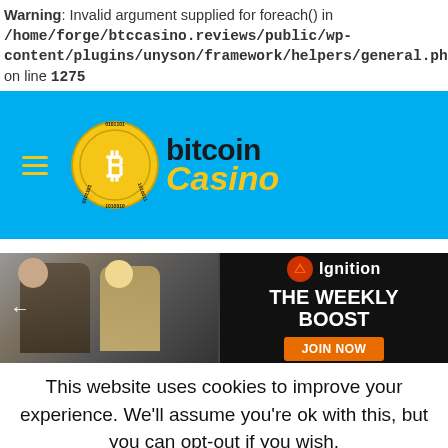Warning: Invalid argument supplied for foreach() in /home/forge/btccasino.reviews/public/wp-content/plugins/unyson/framework/helpers/general.php on line 1275
[Figure (screenshot): Bitcoin Casino website header banner with hamburger menu icon and Bitcoin Casino logo on a blue background]
[Figure (screenshot): Advertisement banner for Ignition Casino showing 'THE WEEKLY BOOST' promotion with JOIN NOW button and animated characters on the left]
This website uses cookies to improve your experience. We'll assume you're ok with this, but you can opt-out if you wish.
Read More   ACCEPT